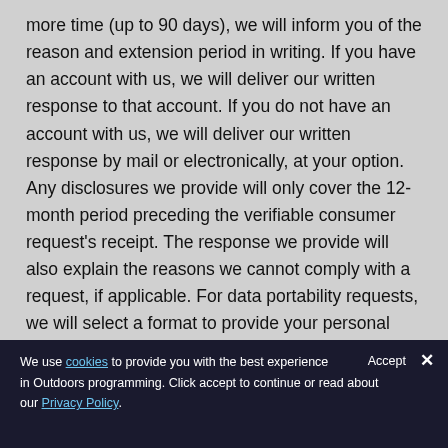more time (up to 90 days), we will inform you of the reason and extension period in writing. If you have an account with us, we will deliver our written response to that account. If you do not have an account with us, we will deliver our written response by mail or electronically, at your option. Any disclosures we provide will only cover the 12-month period preceding the verifiable consumer request's receipt. The response we provide will also explain the reasons we cannot comply with a request, if applicable. For data portability requests, we will select a format to provide your personal
We use cookies to provide you with the best experience in Outdoors programming. Click accept to continue or read about our Privacy Policy.